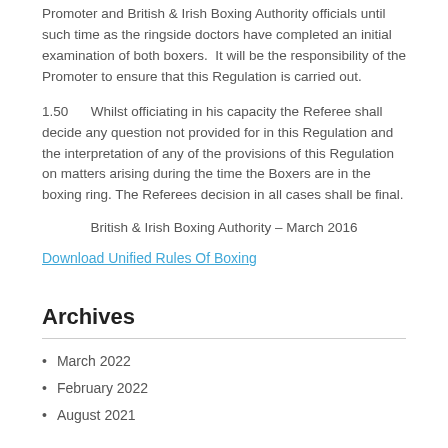Promoter and British & Irish Boxing Authority officials until such time as the ringside doctors have completed an initial examination of both boxers.  It will be the responsibility of the Promoter to ensure that this Regulation is carried out.
1.50      Whilst officiating in his capacity the Referee shall decide any question not provided for in this Regulation and the interpretation of any of the provisions of this Regulation on matters arising during the time the Boxers are in the boxing ring. The Referees decision in all cases shall be final.
British & Irish Boxing Authority – March 2016
Download Unified Rules Of Boxing
Archives
March 2022
February 2022
August 2021